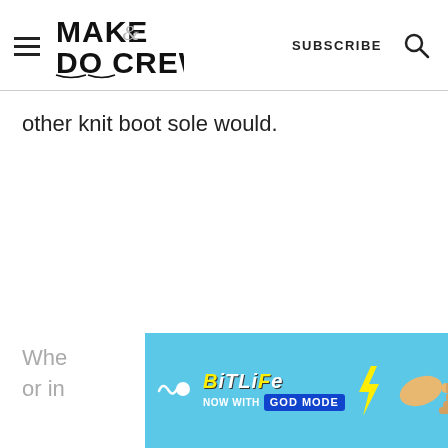MAKE & DO CREW — SUBSCRIBE
other knit boot sole would.
[Figure (screenshot): BitLife advertisement banner with cyan background, BitLife logo, 'NOW WITH GOD MODE' text and hand pointing graphic]
Whe...bts or in...